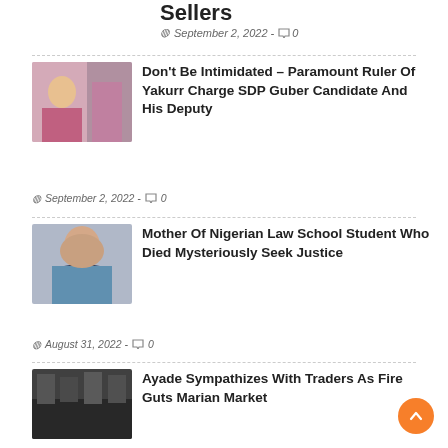Sellers
September 2, 2022 - 0
Don't Be Intimidated – Paramount Ruler Of Yakurr Charge SDP Guber Candidate And His Deputy
September 2, 2022 - 0
Mother Of Nigerian Law School Student Who Died Mysteriously Seek Justice
August 31, 2022 - 0
Ayade Sympathizes With Traders As Fire Guts Marian Market
August 31, 2022 - 0
Expert Seeks Support